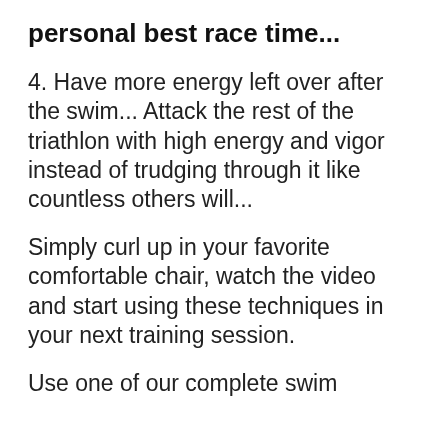personal best race time...
4. Have more energy left over after the swim... Attack the rest of the triathlon with high energy and vigor instead of trudging through it like countless others will...
Simply curl up in your favorite comfortable chair, watch the video and start using these techniques in your next training session.
Use one of our complete swim